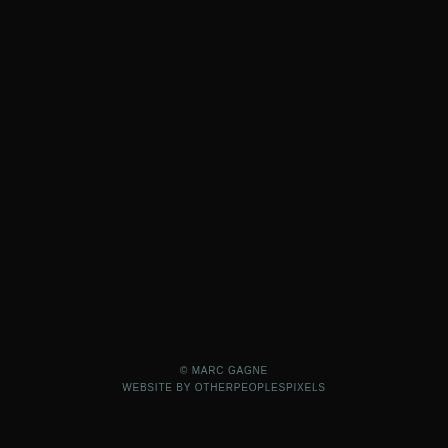[Figure (photo): Nearly entirely black image, very dark photograph with subtle texture.]
© MARC GAGNE
WEBSITE BY OTHERPEOPLESPIXELS